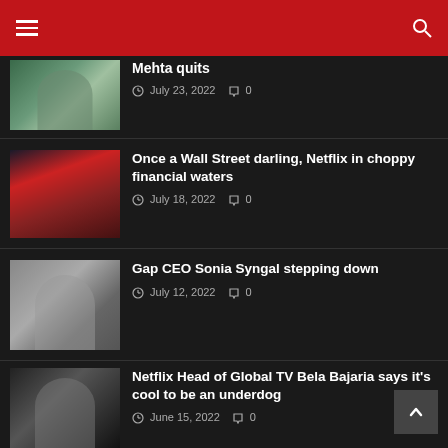Navigation header with hamburger menu and search icon
Mehta quits
July 23, 2022  0
Once a Wall Street darling, Netflix in choppy financial waters
July 18, 2022  0
Gap CEO Sonia Syngal stepping down
July 12, 2022  0
Netflix Head of Global TV Bela Bajaria says it's cool to be an underdog
June 15, 2022  0